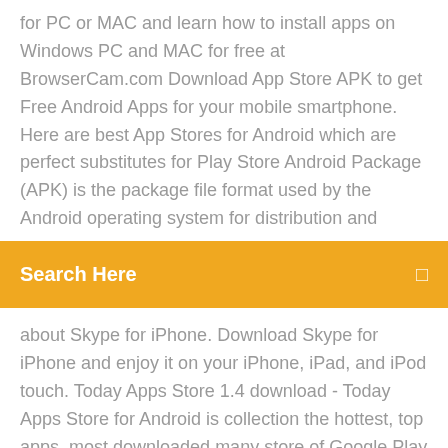for PC or MAC and learn how to install apps on Windows PC and MAC for free at BrowserCam.com Download App Store APK to get Free Android Apps for your mobile smartphone. Here are best App Stores for Android which are perfect substitutes for Play Store Android Package (APK) is the package file format used by the Android operating system for distribution and
[Figure (screenshot): Orange/amber search bar UI element with white text 'Search Here' on the left and a small white search icon on the right.]
about Skype for iPhone. Download Skype for iPhone and enjoy it on your iPhone, iPad, and iPod touch. Today Apps Store 1.4 download - Today Apps Store for Android is collection the hottest, top apps, most downloaded many store of Google Play Store. Today... Download Games - Apps for Android. Download MPL - Mobile Premier League, Grand Theft Auto: San Andreas, Fortnite Battle Royale - Chapter 2 and more
In 2018, the app as we know it turned 10. There were 500 apps